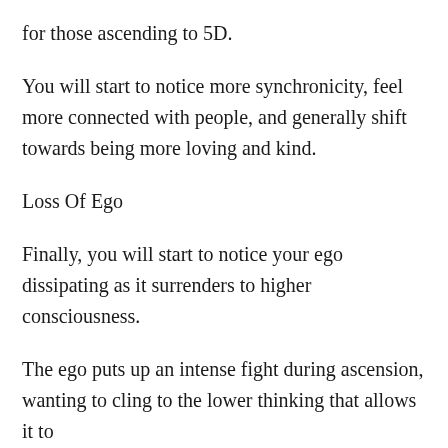for those ascending to 5D.
You will start to notice more synchronicity, feel more connected with people, and generally shift towards being more loving and kind.
Loss Of Ego
Finally, you will start to notice your ego dissipating as it surrenders to higher consciousness.
The ego puts up an intense fight during ascension, wanting to cling to the lower thinking that allows it to